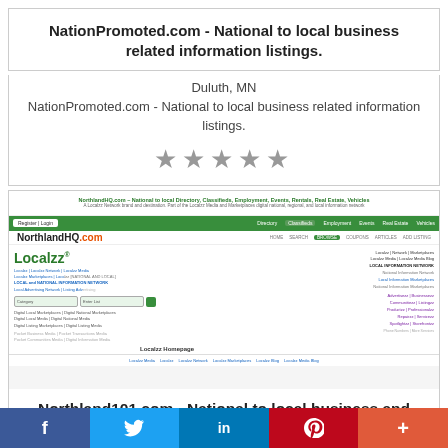NationPromoted.com - National to local business related information listings.
Duluth, MN
NationPromoted.com - National to local business related information listings.
[Figure (other): Five gray star rating icons]
[Figure (screenshot): Screenshot of NorthlandHQ.com website showing Localzz logo and directory listings]
Northland101.com - National to local business and information listings.
f  (Twitter bird)  in  P  +  (social share bar)